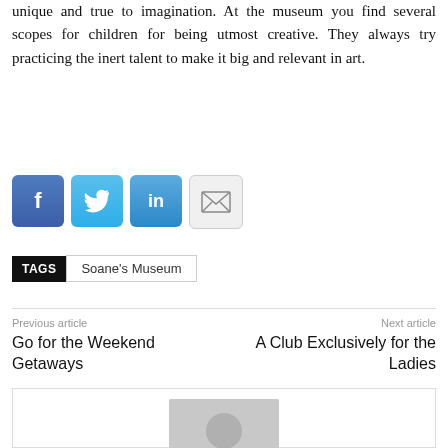unique and true to imagination. At the museum you find several scopes for children for being utmost creative. They always try practicing the inert talent to make it big and relevant in art.
[Figure (other): Social share buttons: Facebook (f), Twitter (bird), LinkedIn (in), Email (envelope)]
TAGS  Soane's Museum
Previous article
Go for the Weekend Getaways
Next article
A Club Exclusively for the Ladies
[Figure (photo): Author avatar placeholder — grey silhouette of a person on a light grey background]